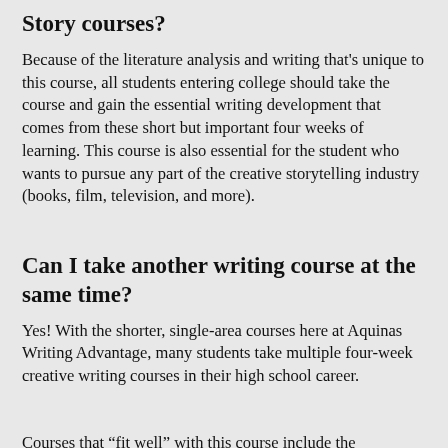Story courses?
Because of the literature analysis and writing that’s unique to this course, all students entering college should take the course and gain the essential writing development that comes from these short but important four weeks of learning. This course is also essential for the student who wants to pursue any part of the creative storytelling industry (books, film, television, and more).
Can I take another writing course at the same time?
Yes! With the shorter, single-area courses here at Aquinas Writing Advantage, many students take multiple four-week creative writing courses in their high school career.
Courses that “fit well” with this course include the foundational fiction courses, advanced fiction